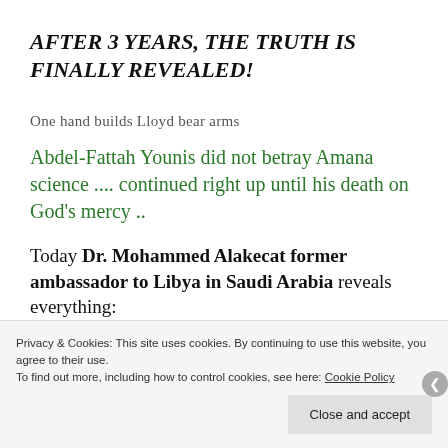AFTER 3 YEARS, THE TRUTH IS FINALLY REVEALED!
One hand builds Lloyd bear arms
Abdel-Fattah Younis did not betray Amana science .... continued right up until his death on God's mercy ..
Today Dr. Mohammed Alakecat former ambassador to Libya in Saudi Arabia reveals everything:
Privacy & Cookies: This site uses cookies. By continuing to use this website, you agree to their use.
To find out more, including how to control cookies, see here: Cookie Policy